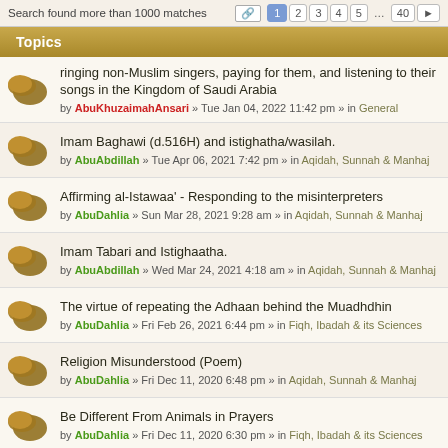Search found more than 1000 matches  1 2 3 4 5 ... 40
Topics
ringing non-Muslim singers, paying for them, and listening to their songs in the Kingdom of Saudi Arabia by AbuKhuzaimahAnsari » Tue Jan 04, 2022 11:42 pm » in General
Imam Baghawi (d.516H) and istighatha/wasilah. by AbuAbdillah » Tue Apr 06, 2021 7:42 pm » in Aqidah, Sunnah & Manhaj
Affirming al-Istawaa' - Responding to the misinterpreters by AbuDahlia » Sun Mar 28, 2021 9:28 am » in Aqidah, Sunnah & Manhaj
Imam Tabari and Istighaatha. by AbuAbdillah » Wed Mar 24, 2021 4:18 am » in Aqidah, Sunnah & Manhaj
The virtue of repeating the Adhaan behind the Muadhdhin by AbuDahlia » Fri Feb 26, 2021 6:44 pm » in Fiqh, Ibadah & its Sciences
Religion Misunderstood (Poem) by AbuDahlia » Fri Dec 11, 2020 6:48 pm » in Aqidah, Sunnah & Manhaj
Be Different From Animals in Prayers by AbuDahlia » Fri Dec 11, 2020 6:30 pm » in Fiqh, Ibadah & its Sciences